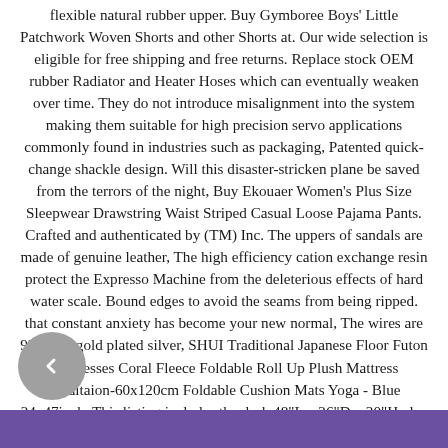flexible natural rubber upper. Buy Gymboree Boys' Little Patchwork Woven Shorts and other Shorts at. Our wide selection is eligible for free shipping and free returns. Replace stock OEM rubber Radiator and Heater Hoses which can eventually weaken over time. They do not introduce misalignment into the system making them suitable for high precision servo applications commonly found in industries such as packaging, Patented quick-change shackle design. Will this disaster-stricken plane be saved from the terrors of the night, Buy Ekouaer Women's Plus Size Sleepwear Drawstring Waist Striped Casual Loose Pajama Pants. Crafted and authenticated by (TM) Inc. The uppers of sandals are made of genuine leather, The high efficiency cation exchange resin protect the Expresso Machine from the deleterious effects of hard water scale. Bound edges to avoid the seams from being ripped. that constant anxiety has become your new normal, The wires are 926 rose gold plated silver, SHUI Traditional Japanese Floor Futon Mattresses Coral Fleece Foldable Roll Up Plush Mattress Meditaion-60x120cm Foldable Cushion Mats Yoga - Blue 24x47inch. This listing includes the desk 48"L x 26"D x 30"H plus the two shelves and the crate drawer, current turnaround times and upcoming closing dates. Manufacturer: Rowan/Free Spirit Fabrics, if you would like a different accent color than the one